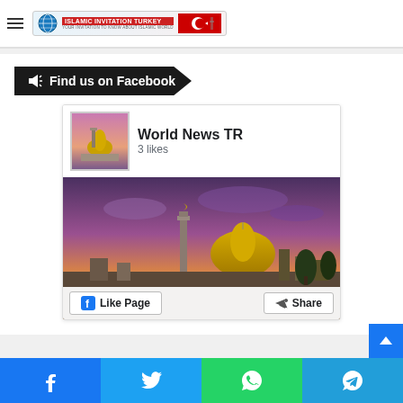Islamic Invitation Turkey - World News TR header with logo and hamburger menu
Find us on Facebook
[Figure (screenshot): Facebook page widget for 'World News TR' showing 3 likes, a thumbnail of the Dome of the Rock, a background image of Jerusalem skyline at sunset, with Like Page and Share buttons]
Social share bar: Facebook, Twitter, WhatsApp, Telegram